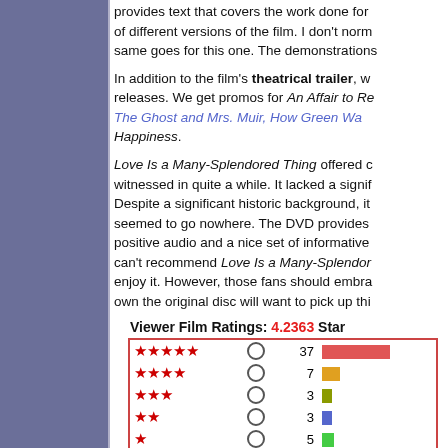provides text that covers the work done for different versions of the film. I don't normally same goes for this one. The demonstrations
In addition to the film's theatrical trailer, we get promos for An Affair to Remember, The Ghost and Mrs. Muir, How Green Was My Valley, Happiness.
Love Is a Many-Splendored Thing offered one of the most disappointing films witnessed in quite a while. It lacked a significant plot. Despite a significant historic background, it seemed to go nowhere. The DVD provides positive audio and a nice set of informative extras. I can't recommend Love Is a Many-Splendored Thing to enjoy it. However, those fans should embrace it, and those who own the original disc will want to pick up this new edition.
| Stars | Radio | Count | Bar |
| --- | --- | --- | --- |
| ★★★★★ |  | 37 | red bar |
| ★★★★ |  | 7 | orange bar |
| ★★★ |  | 3 | olive bar |
| ★★ |  | 3 | blue bar |
| ★ |  | 5 | green bar |
Viewer Film Ratings: 4.2363 Stars
Rate It!   View Averages for